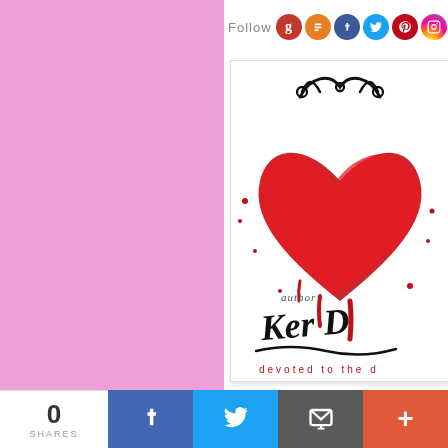[Figure (screenshot): Pink left panel background of a blog/website page]
Follow
[Figure (logo): Social media follow icons: Goodreads (brown/red G), Blogger (orange B), Facebook (blue f), Twitter (blue bird), Pinterest (red P), Instagram (gradient camera)]
[Figure (logo): Author Ker D... logo/brand image: white background with decorative black swirl, large painted red heart, cursive script 'Author Ker D...' and tagline 'devoted to the d...']
0
SHARES
[Figure (infographic): Share bar with Facebook, Twitter, Email, and More (+) buttons]